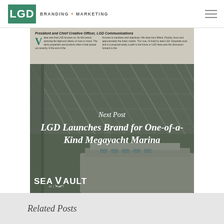LGD BRANDING + MARKETING
[Figure (screenshot): Partial view of an article page showing title 'President and Chief Creative Officer, LGD Communications' with drop cap V and two columns of small body text]
[Figure (photo): Next Post navigation banner over a marina/megayacht image with steel structure overhead. Text overlay reads 'Next Post' and 'LGD Launches Brand for One-of-a-Kind Megayacht Marina'. SeaVault Miami logo visible at bottom left.]
Related Posts